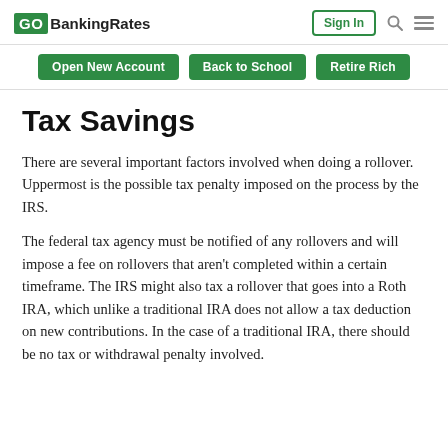GO BankingRates | Sign In | [search] [menu]
Open New Account | Back to School | Retire Rich
Tax Savings
There are several important factors involved when doing a rollover. Uppermost is the possible tax penalty imposed on the process by the IRS.
The federal tax agency must be notified of any rollovers and will impose a fee on rollovers that aren't completed within a certain timeframe. The IRS might also tax a rollover that goes into a Roth IRA, which unlike a traditional IRA does not allow a tax deduction on new contributions. In the case of a traditional IRA, there should be no tax or withdrawal penalty involved.